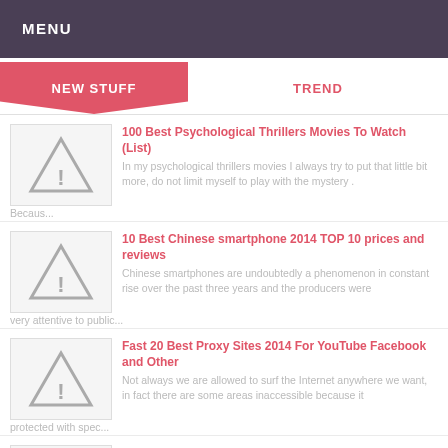MENU
NEW STUFF
TREND
100 Best Psychological Thrillers Movies To Watch (List)
In my psychological thrillers movies I always try to put that little bit more, do not limit myself to play with the mystery . Becaus...
10 Best Chinese smartphone 2014 TOP 10 prices and reviews
Chinese smartphones are undoubtedly a phenomenon in constant rise over the past three years and the producers were very attentive to public...
Fast 20 Best Proxy Sites 2014 For YouTube Facebook and Other
Not always we are allowed to surf the Internet anywhere we want, in fact there are some areas inaccessible because it protected with spec...
20 Best Tattoos Phrases Quotes For Girl Women's
20 Best Tattoo Phrases Quotes Ever For Girls Teen or Womens Pictures